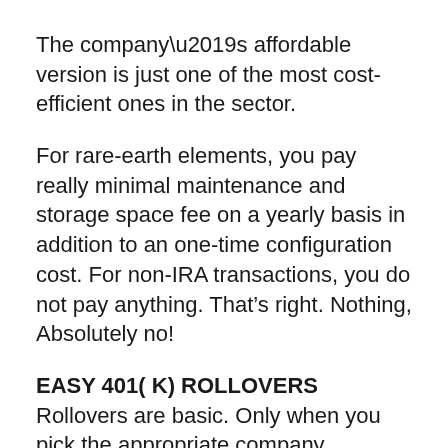The company’s affordable version is just one of the most cost-efficient ones in the sector.
For rare-earth elements, you pay really minimal maintenance and storage space fee on a yearly basis in addition to an one-time configuration cost. For non-IRA transactions, you do not pay anything. That’s right. Nothing, Absolutely no!
EASY 401( K) ROLLOVERS
Rollovers are basic. Only when you pick the appropriate company.
At Goldco, you can have a quick and also problem-free rollover. All you have to do is open a brand-new Goldco Priceless Metals